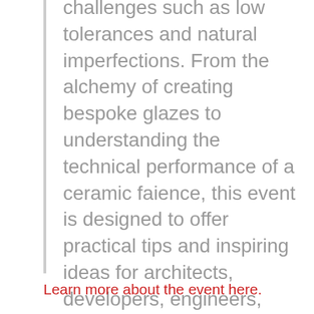challenges such as low tolerances and natural imperfections. From the alchemy of creating bespoke glazes to understanding the technical performance of a ceramic faience, this event is designed to offer practical tips and inspiring ideas for architects, developers, engineers, planners and all those interested in the journey of integrating ceramics into their practice.
Learn more about the event here.